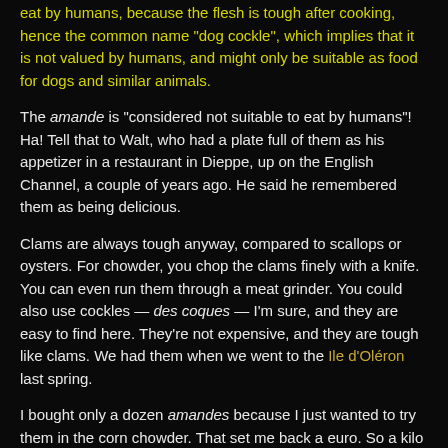eat by humans, because the flesh is tough after cooking, hence the common name "dog cockle", which implies that it is not valued by humans, and might only be suitable as food for dogs and similar animals.
The amande is "considered not suitable to eat by humans"! Ha! Tell that to Walt, who had a plate full of them as his appetizer in a restaurant in Dieppe, up on the English Channel, a couple of years ago. He said he remembered them as being delicious.
Clams are always tough anyway, compared to scallops or oysters. For chowder, you chop the clams finely with a knife. You can even run them through a meat grinder. You could also use cockles — des coques — I'm sure, and they are easy to find here. They're not expensive, and they are tough like clams. We had them when we went to the Ile d'Oléron last spring.
I bought only a dozen amandes because I just wanted to try them in the corn chowder. That set me back a euro. So a kilo of these clams would give you about two dozen. Hard to diet...